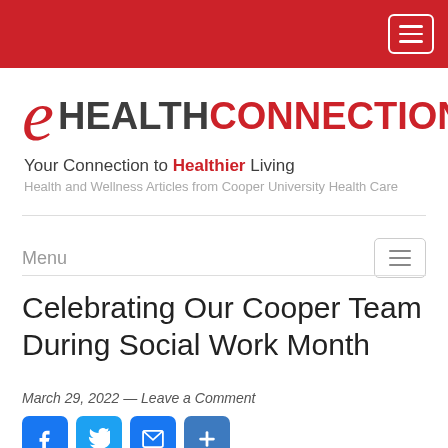eHEALTH CONNECTION — Your Connection to Healthier Living
[Figure (logo): eHealth Connection logo with stylized red italic 'e', bold 'HEALTH' in dark gray and 'CONNECTION' in red, tagline 'Your Connection to Healthier Living', subtitle 'Health and Wellness Articles from Cooper University Health Care']
Menu
Celebrating Our Cooper Team During Social Work Month
March 29, 2022 — Leave a Comment